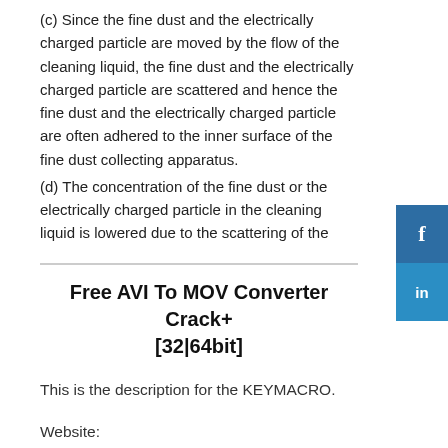(c) Since the fine dust and the electrically charged particle are moved by the flow of the cleaning liquid, the fine dust and the electrically charged particle are scattered and hence the fine dust and the electrically charged particle are often adhered to the inner surface of the fine dust collecting apparatus.
(d) The concentration of the fine dust or the electrically charged particle in the cleaning liquid is lowered due to the scattering of the
Free AVI To MOV Converter Crack+ [32|64bit]
This is the description for the KEYMACRO.
Website:
Video clip: